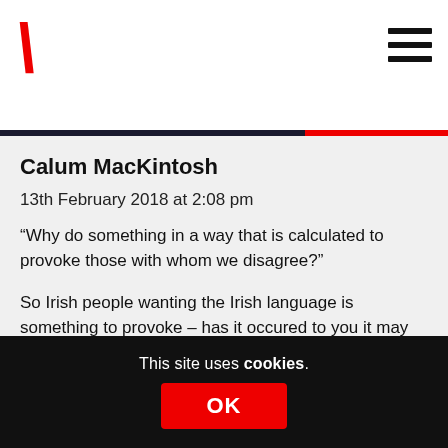\
Calum MacKintosh
13th February 2018 at 2:08 pm
“Why do something in a way that is calculated to provoke those with whom we disagree?”
So Irish people wanting the Irish language is something to provoke – has it occured to you it may be something they want for themselves and future generations and has nothing to do with umionists?
“Be hi...
This site uses cookies.